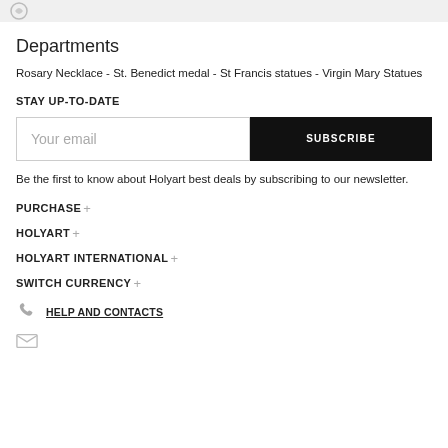Departments
Rosary Necklace - St. Benedict medal - St Francis statues - Virgin Mary Statues
STAY UP-TO-DATE
Your email | SUBSCRIBE
Be the first to know about Holyart best deals by subscribing to our newsletter.
PURCHASE+
HOLYART+
HOLYART INTERNATIONAL+
SWITCH CURRENCY+
HELP AND CONTACTS